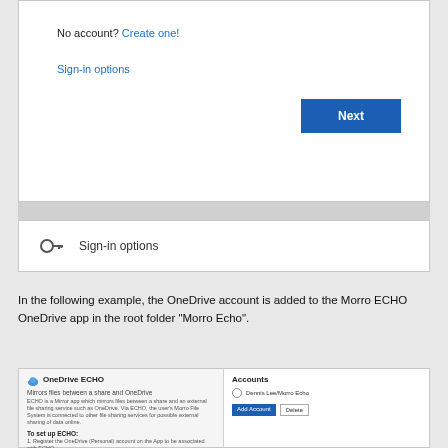[Figure (screenshot): Microsoft sign-in dialog showing 'No account? Create one!' link, 'Sign-in options' link, and a blue 'Next' button]
[Figure (screenshot): Sign-in options row with key icon and 'Sign-in options' text]
In the following example, the OneDrive account is added to the Morro ECHO OneDrive app in the root folder "Morro Echo".
[Figure (screenshot): OneDrive ECHO application interface showing left panel with OneDrive ECHO title, 'Mirrors files between a share and OneDrive' subtitle, description text, 'To set up ECHO:' section with numbered steps; right panel showing Accounts section with a radio option 'Dennis Lee/Morro Echo', and Add Account / Delete buttons]